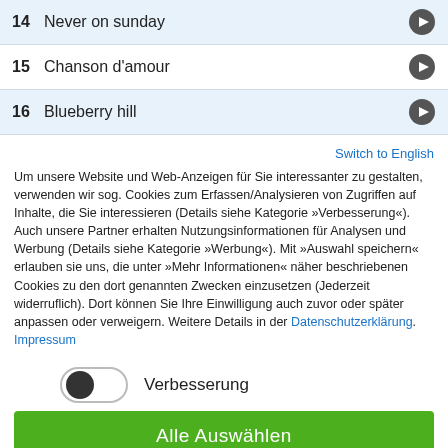14  Never on sunday
15  Chanson d'amour
16  Blueberry hill
Switch to English
Um unsere Website und Web-Anzeigen für Sie interessanter zu gestalten, verwenden wir sog. Cookies zum Erfassen/Analysieren von Zugriffen auf Inhalte, die Sie interessieren (Details siehe Kategorie »Verbesserung«). Auch unsere Partner erhalten Nutzungsinformationen für Analysen und Werbung (Details siehe Kategorie »Werbung«). Mit »Auswahl speichern« erlauben sie uns, die unter »Mehr Informationen« näher beschriebenen Cookies zu den dort genannten Zwecken einzusetzen (Jederzeit widerruflich). Dort können Sie Ihre Einwilligung auch zuvor oder später anpassen oder verweigern. Weitere Details in der Datenschutzerklärung. Impressum
Verbesserung
Alle Auswählen
Mehr Informationen
Nur notwendige Cookies